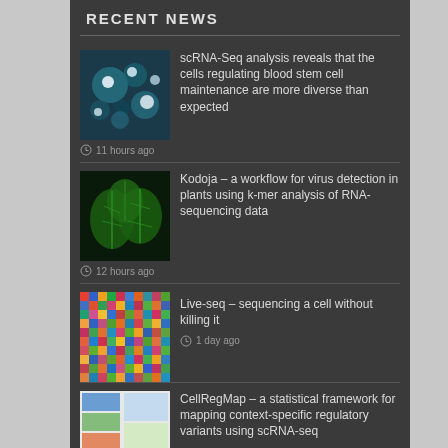RECENT NEWS
scRNA-Seq analysis reveals that the cells regulating blood stem cell maintenance are more diverse than expected
Kodoja – a workflow for virus detection in plants using k-mer analysis of RNA-sequencing data
Live-seq – sequencing a cell without killing it
CellRegMap – a statistical framework for mapping context-specific regulatory variants using scRNA-seq
TGIRT sequencing reveals